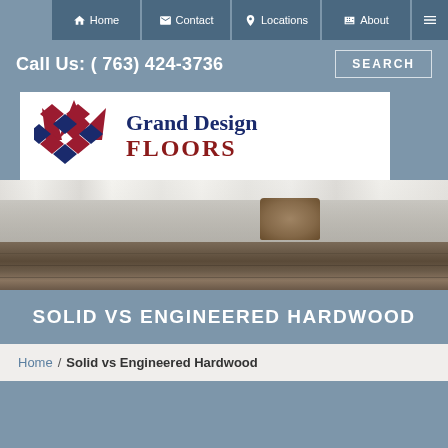Home | Contact | Locations | About
Call Us: ( 763) 424-3736
[Figure (logo): Grand Design Floors logo with red and blue diamond pattern and company name]
[Figure (photo): Interior photo showing white kitchen cabinets with a wicker basket and dark hardwood flooring]
SOLID VS ENGINEERED HARDWOOD
Home / Solid vs Engineered Hardwood